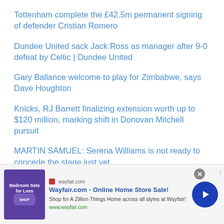Tottenham complete the £42.5m permanent signing of defender Cristian Romero
Dundee United sack Jack Ross as manager after 9-0 defeat by Celtic | Dundee United
Gary Ballance welcome to play for Zimbabwe, says Dave Houghton
Knicks, RJ Barrett finalizing extension worth up to $120 million, marking shift in Donovan Mitchell pursuit
MARTIN SAMUEL: Serena Williams is not ready to concede the stage just yet
[Figure (screenshot): Wayfair.com advertisement banner showing 'Online Home Store Sale!' with bedroom furniture image, shop button, and Wayfair URL]